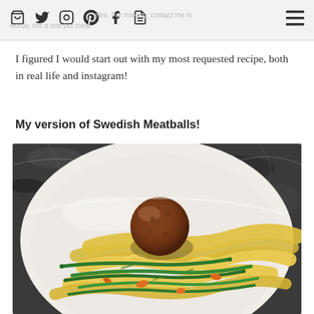… recipe. For making … in real words, not a one pot meal.
I figured I would start out with my most requested recipe, both in real life and instagram!
My version of Swedish Meatballs!
[Figure (photo): A white bowl containing wide pappardelle-style egg noodles topped with green beans, sliced carrots, and a large browned meatball, placed on a dark granite countertop.]